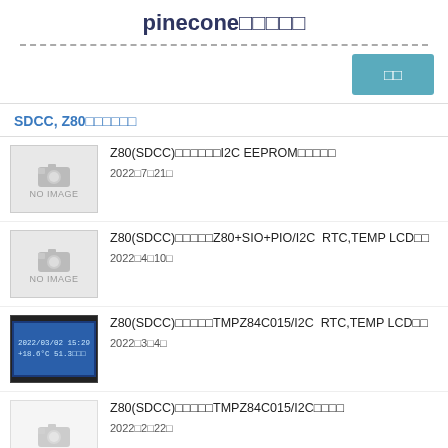pinecone
[Figure (other): Blue button with Japanese text]
SDCC, Z80
Z80(SDCC)によるI2C EEPROMの読み書き — 2022年7月21日
Z80(SDCC)による自作Z80+SIO+PIO/I2C RTC,TEMP LCD表示 — 2022年4月10日
Z80(SDCC)によるTMPZ84C015/I2C RTC,TEMP LCD表示 — 2022年3月4日
Z80(SDCC)によるTMPZ84C015/I2Cの接続 — 2022年2月22日